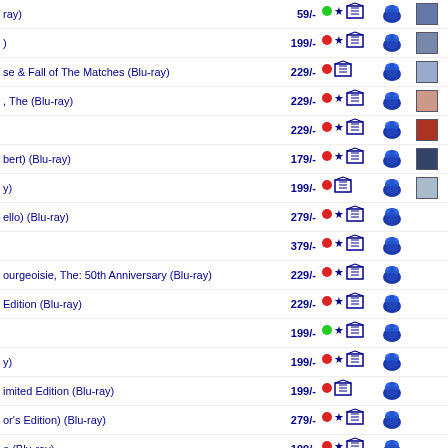| Title | Price | Status | Star | Cart | Basket | Thumb |
| --- | --- | --- | --- | --- | --- | --- |
| ray) | 59/- | green | ★ | cart | basket | thumb |
| ) | 199/- | red | ★ | cart | basket | thumb |
| se & Fall of The Matches (Blu-ray) | 229/- | red |  | cart | basket | thumb |
| , The (Blu-ray) | 229/- | red | ★ | cart | basket | thumb |
|  | 229/- | red | ★ | cart | basket | thumb |
| bert) (Blu-ray) | 179/- | red | ★ | cart | basket | thumb |
| y) | 199/- | red |  | cart | basket | thumb |
| ello) (Blu-ray) | 279/- | red | ★ | cart | basket |  |
|  | 379/- | red | ★ | cart | basket |  |
| ourgeoisie, The: 50th Anniversary (Blu-ray) | 229/- | red | ★ | cart | basket |  |
| Edition (Blu-ray) | 229/- | red | ★ | cart | basket |  |
|  | 199/- | green | ★ | cart | basket |  |
| y) | 199/- | red | ★ | cart | basket |  |
| imited Edition (Blu-ray) | 199/- | red |  | cart | basket |  |
| or's Edition) (Blu-ray) | 279/- | red | ★ | cart | basket |  |
| e (Blu-ray) | 199/- | red | ★ | cart | basket |  |
| s Edition (Blu-ray) | 279/- | red |  | cart | basket |  |
| e (Blu-ray) | 59/- | green | ★ | cart | basket |  |
| g) (Blu-ray) | 229/- | red |  | cart | basket |  |
|  | 199/- | red | ★ | cart | basket |  |
| NI A... (Blu-ray) | 175/- | red | ★ | cart | basket | thumb |